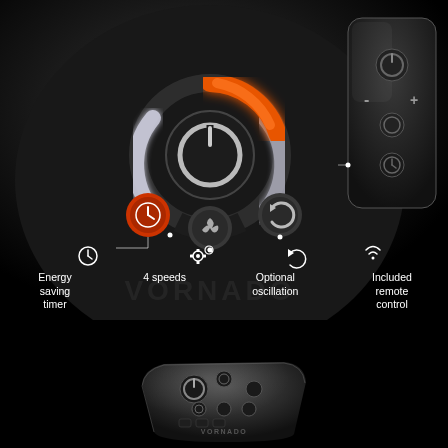of the way you cool down your home.
[Figure (photo): Vornado fan control panel with illuminated power ring button (orange and white glow), timer button, fan speed button, and oscillation button. A remote control is shown on the right side.]
Energy saving timer
4 speeds
Optional oscillation
Included remote control
[Figure (photo): Vornado remote control device shown at an angle on black background, with power, speed, oscillation and timer buttons visible.]